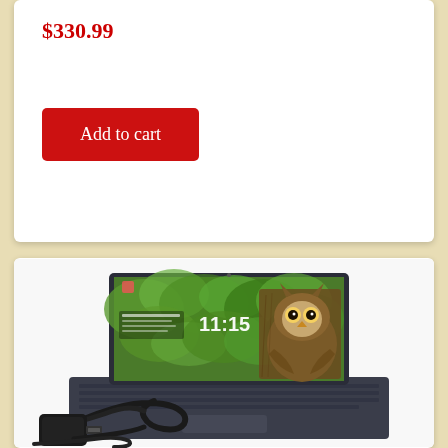$330.99
Add to cart
[Figure (photo): A laptop computer open and displaying a lock screen with an owl image and time 11:15, shown with a black charging cable/power adapter in the foreground, on a white background.]